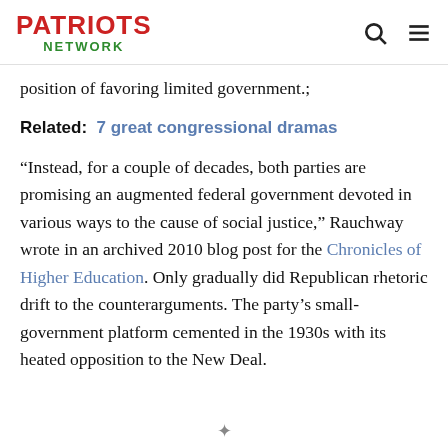PATRIOTS NETWORK
position of favoring limited government.;
Related:  7 great congressional dramas
“Instead, for a couple of decades, both parties are promising an augmented federal government devoted in various ways to the cause of social justice,” Rauchway wrote in an archived 2010 blog post for the Chronicles of Higher Education. Only gradually did Republican rhetoric drift to the counterarguments. The party’s small-government platform cemented in the 1930s with its heated opposition to the New Deal.